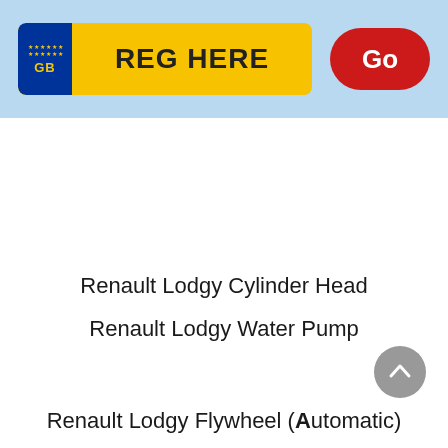[Figure (screenshot): UK vehicle registration plate search bar with yellow plate background, blue GB badge with EU stars, bold text 'REG HERE', and a red 'Go' button]
Renault Lodgy Cylinder Head
Renault Lodgy Water Pump
Renault Lodgy Flywheel (Automatic)